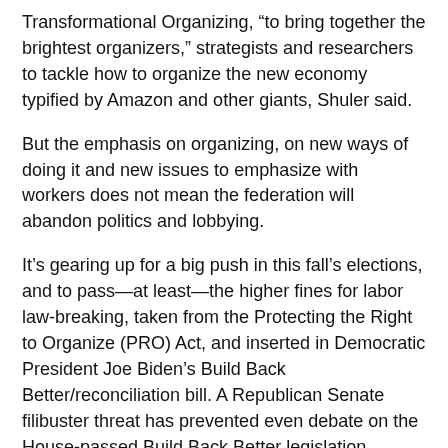Transformational Organizing, “to bring together the brightest organizers,” strategists and researchers to tackle how to organize the new economy typified by Amazon and other giants, Shuler said.
But the emphasis on organizing, on new ways of doing it and new issues to emphasize with workers does not mean the federation will abandon politics and lobbying.
It’s gearing up for a big push in this fall’s elections, and to pass—at least—the higher fines for labor law-breaking, taken from the Protecting the Right to Organize (PRO) Act, and inserted in Democratic President Joe Biden’s Build Back Better/reconciliation bill. A Republican Senate filibuster threat has prevented even debate on the House-passed Build Back Better legislation.
The unions are also “taking advantage of the moment,” the two leaders said. The coronavirus pandemic pulled the curtain back for the entire country to see worker exploitation, Redmond explained. “You tell them they’re